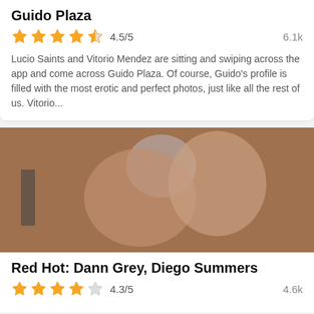Guido Plaza
4.5/5
6.1k
Lucio Saints and Vitorio Mendez are sitting and swiping across the app and come across Guido Plaza. Of course, Guido's profile is filled with the most erotic and perfect photos, just like all the rest of us. Vitorio...
[Figure (photo): Two muscular men in an explicit adult photograph indoors]
Red Hot: Dann Grey, Diego Summers
4.3/5
4.6k